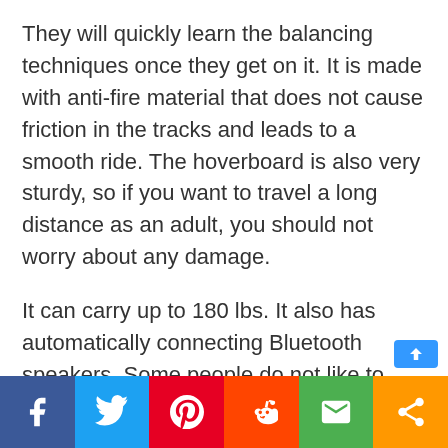They will quickly learn the balancing techniques once they get on it. It is made with anti-fire material that does not cause friction in the tracks and leads to a smooth ride. The hoverboard is also very sturdy, so if you want to travel a long distance as an adult, you should not worry about any damage.
It can carry up to 180 lbs. It also has automatically connecting Bluetooth speakers. Some people do not like to travel alone, and because a hoverboard is suitable for only one person, it is better to have music on not to feel lonely.
It is for f...